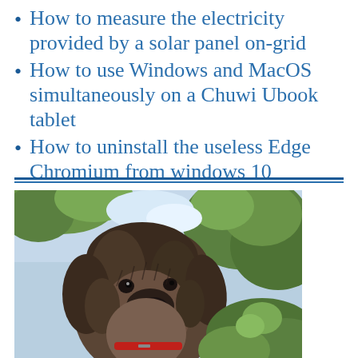How to measure the electricity provided by a solar panel on-grid
How to use Windows and MacOS simultaneously on a Chuwi Ubook tablet
How to uninstall the useless Edge Chromium from windows 10
[Figure (photo): Close-up photo of a dog (appears to be a wire-haired or shaggy breed with brown/grey fur, wearing a red collar) looking upward, with green leafy plants in the background and bright sky visible.]